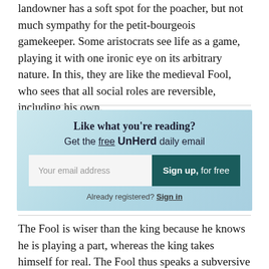landowner has a soft spot for the poacher, but not much sympathy for the petit-bourgeois gamekeeper. Some aristocrats see life as a game, playing it with one ironic eye on its arbitrary nature. In this, they are like the medieval Fool, who sees that all social roles are reversible, including his own.
[Figure (other): Newsletter signup box with light blue gradient background. Heading: 'Like what you're reading?' Subheading: 'Get the free UnHerd daily email'. Email input field with placeholder 'Your email address' and a dark teal 'Sign up, for free' button. Below: 'Already registered? Sign in']
The Fool is wiser than the king because he knows he is playing a part, whereas the king takes himself for real. The Fool thus speaks a subversive kind of truth, for